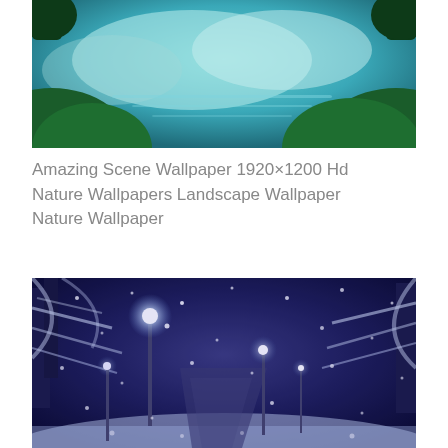[Figure (photo): A nature scene showing water/lake with green foliage and teal/blue sky — top portion of a landscape photo]
Amazing Scene Wallpaper 1920×1200 Hd Nature Wallpapers Landscape Wallpaper Nature Wallpaper
[Figure (photo): A snowy winter night scene of a park pathway lined with street lamps and snow-covered trees, with snowflakes falling, in a blue-purple tone]